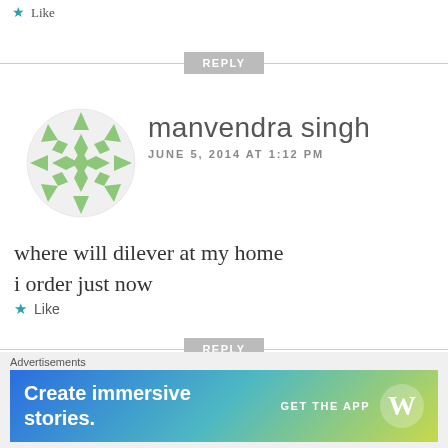★ Like
[Figure (other): Reply button with horizontal dividers]
[Figure (other): Green geometric avatar for manvendra singh]
manvendra singh
JUNE 5, 2014 AT 1:12 PM
where will dilever at my home i order just now
★ Like
[Figure (other): Reply button with horizontal dividers]
[Figure (other): Partially visible colorful avatar for next commenter (aaPiE)]
aaPiE
[Figure (other): Close/X circle button]
Advertisements
[Figure (other): WordPress advertisement banner: Create immersive stories. GET THE APP with WordPress logo]